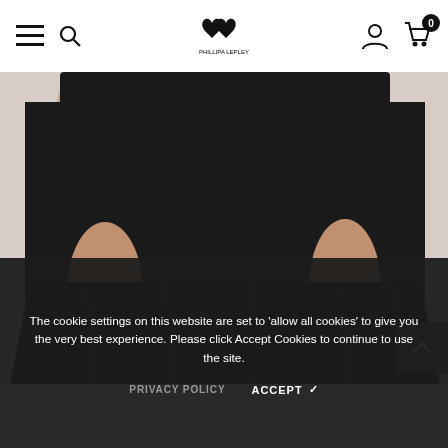Navigation bar with hamburger menu, search, logo (double heart), account, and cart (0)
[Figure (photo): Close-up photo of a person wearing a black top and black pleated/layered skirt or wide-leg trousers. The person's arms and hands are visible; one wrist has gold and black bracelets, the other hand has a ring. The background is a light pinkish-beige.]
The cookie settings on this website are set to 'allow all cookies' to give you the very best experience. Please click Accept Cookies to continue to use the site.
PRIVACY POLICY   ACCEPT ✔